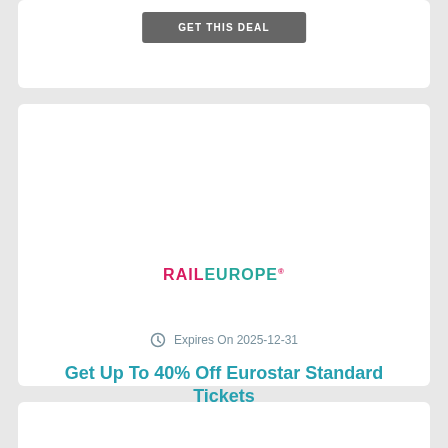[Figure (screenshot): Partial top card with a dark gray 'GET THIS DEAL' button]
[Figure (logo): Rail Europe logo in pink and teal text]
Expires On 2025-12-31
Get Up To 40% Off Eurostar Standard Tickets
GET THIS DEAL
[Figure (screenshot): Partial bottom card, empty white card at bottom of page]